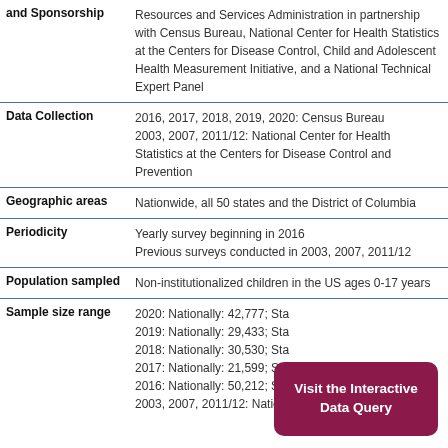| Field | Value |
| --- | --- |
| and Sponsorship | Resources and Services Administration in partnership with Census Bureau, National Center for Health Statistics at the Centers for Disease Control, Child and Adolescent Health Measurement Initiative, and a National Technical Expert Panel |
| Data Collection | 2016, 2017, 2018, 2019, 2020: Census Bureau
2003, 2007, 2011/12: National Center for Health Statistics at the Centers for Disease Control and Prevention |
| Geographic areas | Nationwide, all 50 states and the District of Columbia |
| Periodicity | Yearly survey beginning in 2016
Previous surveys conducted in 2003, 2007, 2011/12 |
| Population sampled | Non-institutionalized children in the US ages 0-17 years |
| Sample size range | 2020: Nationally: 42,777; Sta...
2019: Nationally: 29,433; Sta...
2018: Nationally: 30,530; Sta...
2017: Nationally: 21,599; Sta...
2016: Nationally: 50,212; State: between 638 - 1351
2003, 2007, 2011/12: Nationally: between 91,000 and |
[Figure (other): Overlay button: 'Visit the Interactive Data Query' in dark pink/maroon rounded rectangle]